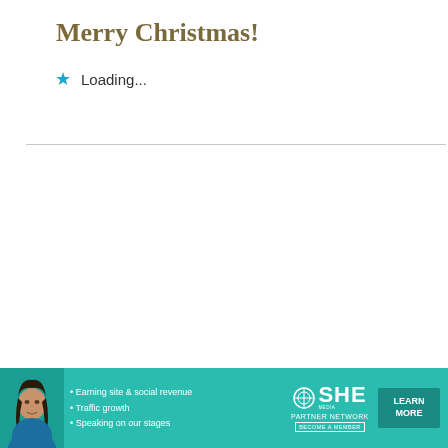Merry Christmas!
★ Loading...
[Figure (illustration): SHE Media Partner Network advertisement banner with woman's photo, bullet points about earning site & social revenue, traffic growth, speaking on stages, SHE logo, and Learn More button]
X